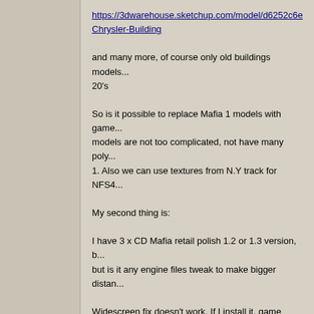https://3dwarehouse.sketchup.com/model/d6252c6e... Chrysler-Building

and many more, of course only old buildings models... 20's

So is it possible to replace Mafia 1 models with game... models are not too complicated, not have many poly... 1. Also we can use textures from N.Y track for NFS4...

My second thing is:

I have 3 x CD Mafia retail polish 1.2 or 1.3 version, b... but is it any engine files tweak to make bigger distan...

Widescreen fix doesn't work, If I install it, game does...

Sorry for my English. Greetings from Poland. Nfsfan8...
Back to top
hostar
New Member
Joined: 04 Apr 2013
Posts: 7
17 Bank Notes
Items
Posted: Mon Sep 21, 2020 2:03 pm   Post subject: Mafia 1 buildings mod

Yes, you can replace models.

If you want to replace models and textures, you need...
1) put models and textures files to correct folders ("m...
2) change the mission file to include those files

If you are beginning with Mafia modding, it seems qu...